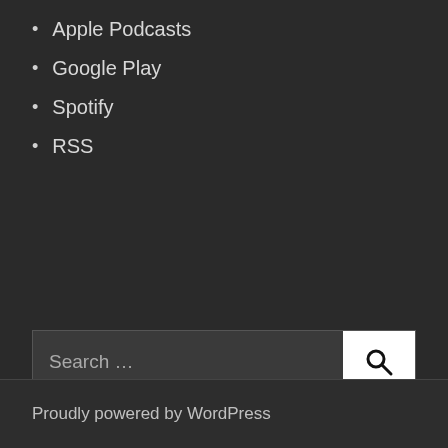Apple Podcasts
Google Play
Spotify
RSS
Search …
Proudly powered by WordPress